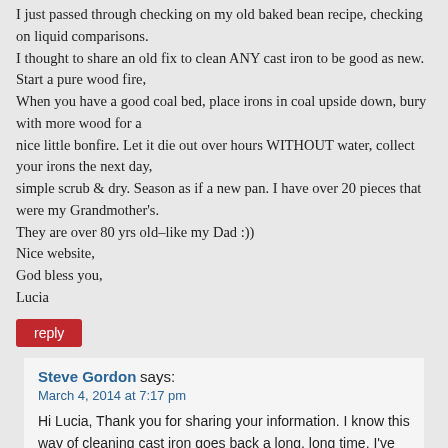I just passed through checking on my old baked bean recipe, checking on liquid comparisons.
I thought to share an old fix to clean ANY cast iron to be good as new. Start a pure wood fire,
When you have a good coal bed, place irons in coal upside down, bury with more wood for a
nice little bonfire. Let it die out over hours WITHOUT water, collect your irons the next day,
simple scrub & dry. Season as if a new pan. I have over 20 pieces that were my Grandmother's.
They are over 80 yrs old–like my Dad :))
Nice website,
God bless you,
Lucia
reply
Steve Gordon says:
March 4, 2014 at 7:17 pm
Hi Lucia, Thank you for sharing your information. I know this way of cleaning cast iron goes back a long, long time. I've got an old cast iron dutch oven piece that I need to do this way. Maybe one day I'll get around to doing it. Sounds like you have quite the collection of cast iron. It's great that you have